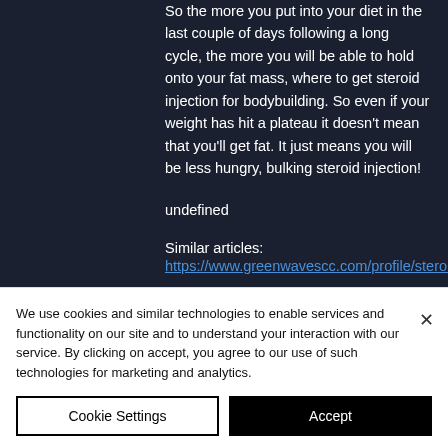So the more you put into your diet in the last couple of days following a long cycle, the more you will be able to hold onto your fat mass, where to get steroid injection for bodybuilding. So even if your weight has hit a plateau it doesn't mean that you'll get fat. It just means you will be less hungry, bulking steroid injection!
undefined
Similar articles:
https://www.greenwavescc.com/profile/steroi
We use cookies and similar technologies to enable services and functionality on our site and to understand your interaction with our service. By clicking on accept, you agree to our use of such technologies for marketing and analytics.
Cookie Settings
Accept